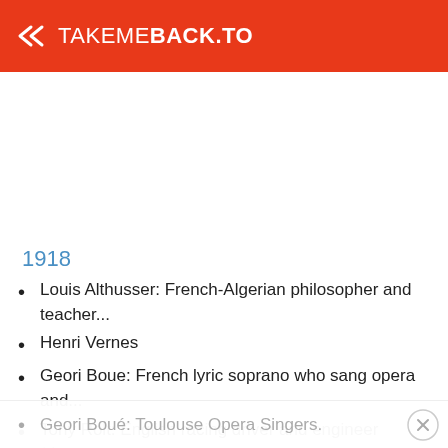TAKEMEBACK.TO
1918
Louis Althusser: French-Algerian philosopher and teacher...
Henri Vernes
Geori Boue: French lyric soprano who sang opera and...
Tony Rolt: English racing driver and engineer (d...
Geori Boué: Toulouse Opera Singers.